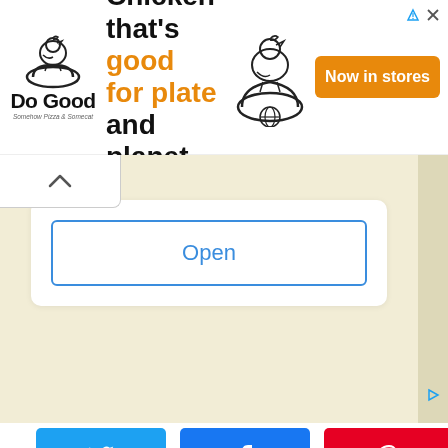[Figure (screenshot): Ad banner for 'Do Good' chicken brand with logo, headline 'Chicken that’s good for plate and planet.' with orange CTA button 'Now in stores' and chicken illustrations]
[Figure (screenshot): App install prompt area with cream/beige background and 'Open' button in white card]
[Figure (screenshot): Social sharing bar with Twitter (blue), Facebook (dark blue), Pinterest (red) buttons and share count of 0]
[Figure (photo): Photo of construction cranes against a cloudy sky]